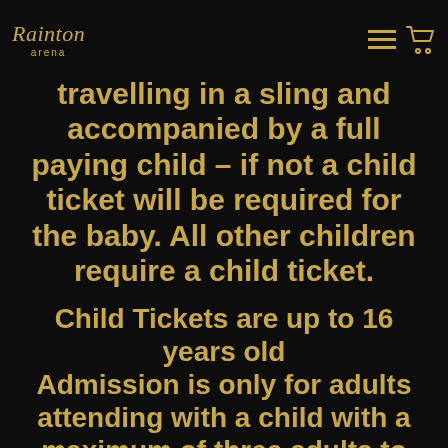Rainton Arena [logo] [hamburger menu] [cart icon]
travelling in a sling and accompanied by a full paying child – if not a child ticket will be required for the baby. All other children require a child ticket.
Child Tickets are up to 16 years old
Admission is only for adults attending with a child with a maximum of three adults to one child.